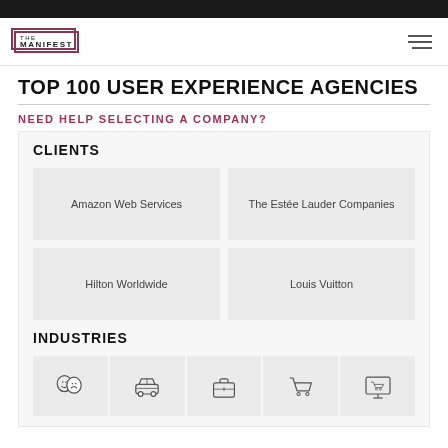THE MANIFEST
TOP 100 USER EXPERIENCE AGENCIES
NEED HELP SELECTING A COMPANY?
CLIENTS
Amazon Web Services
The Estée Lauder Companies
Hilton Worldwide
Louis Vuitton
INDUSTRIES
[Figure (illustration): Five industry icons: theater masks, car/automotive, briefcase/business, shopping cart, computer monitor with cart (e-commerce)]